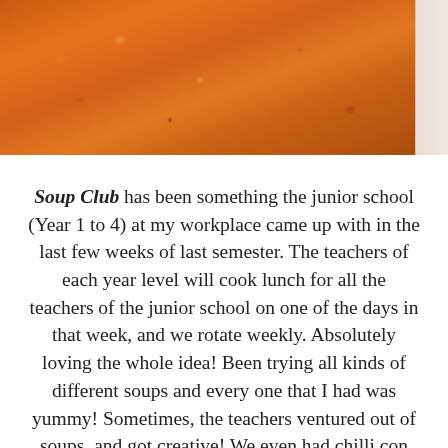[Figure (photo): Close-up photo of orange/red tomato soup with speckles, with a white napkin or container edge visible on the right side.]
Soup Club has been something the junior school (Year 1 to 4) at my workplace came up with in the last few weeks of last semester. The teachers of each year level will cook lunch for all the teachers of the junior school on one of the days in that week, and we rotate weekly. Absolutely loving the whole idea! Been trying all kinds of different soups and every one that I had was yummy! Sometimes, the teachers ventured out of soups, and got creative! We even had chilli con carne and curry lentils! Really well fed at my work place. haha
I was part of the year 1 team, and on our first